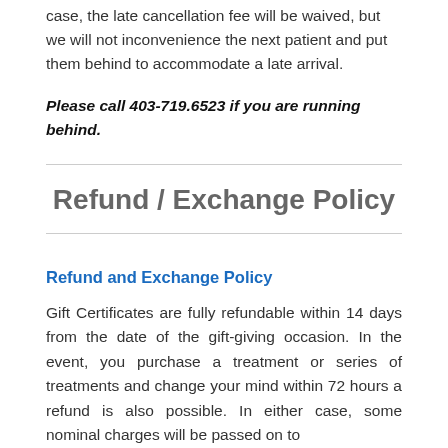case, the late cancellation fee will be waived, but we will not inconvenience the next patient and put them behind to accommodate a late arrival.
Please call 403-719.6523 if you are running behind.
Refund / Exchange Policy
Refund and Exchange Policy
Gift Certificates are fully refundable within 14 days from the date of the gift-giving occasion. In the event, you purchase a treatment or series of treatments and change your mind within 72 hours a refund is also possible. In either case, some nominal charges will be passed on to